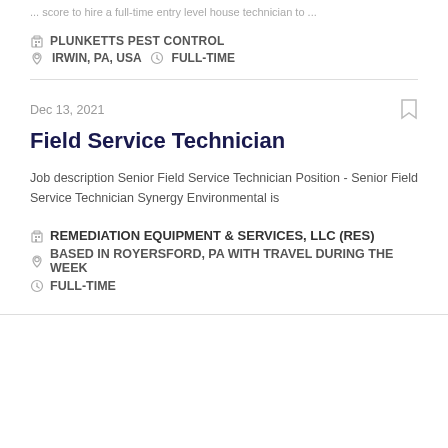... score to hire a full-time entry level house technician to ...
PLUNKETTS PEST CONTROL
IRWIN, PA, USA   FULL-TIME
Dec 13, 2021
Field Service Technician
Job description Senior Field Service Technician Position - Senior Field Service Technician Synergy Environmental is
REMEDIATION EQUIPMENT & SERVICES, LLC (RES)
BASED IN ROYERSFORD, PA WITH TRAVEL DURING THE WEEK
FULL-TIME